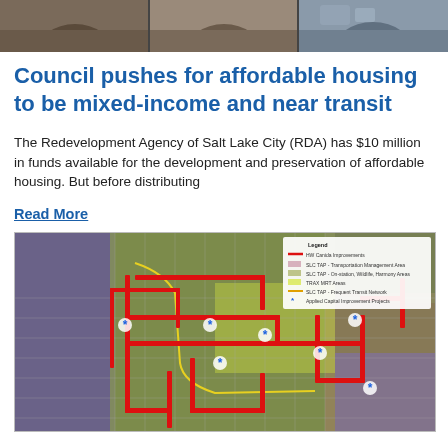[Figure (photo): Architectural photo of a building with arched windows at the top of the page]
Council pushes for affordable housing to be mixed-income and near transit
The Redevelopment Agency of Salt Lake City (RDA) has $10 million in funds available for the development and preservation of affordable housing.  But before distributing
Read More
[Figure (map): Map of Salt Lake City showing transit corridors, transportation management areas, wildlife habitat areas, and applied capital improvement projects marked with blue asterisks. Red bold lines show main transit corridors overlaid on satellite/aerial imagery.]